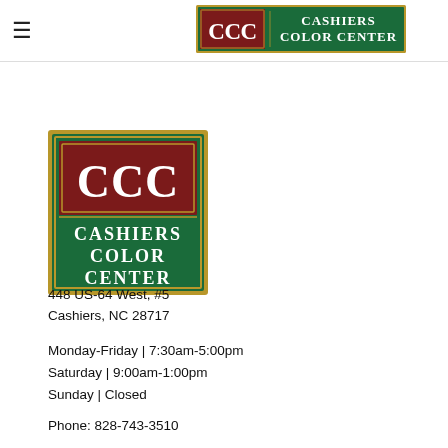CCC Cashiers Color Center (header logo)
[Figure (logo): Cashiers Color Center square logo with CCC in large serif letters on dark red background, 'CASHIERS COLOR CENTER' text on green background]
448 US-64 West, #5
Cashiers, NC 28717
Monday-Friday | 7:30am-5:00pm
Saturday | 9:00am-1:00pm
Sunday | Closed
Phone: 828-743-3510